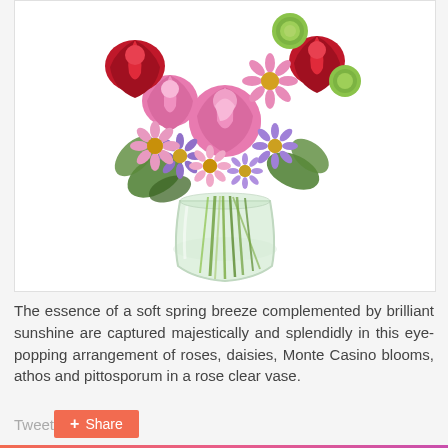[Figure (photo): A colorful spring flower arrangement in a clear glass vase featuring pink roses, purple daisies, pink daisies, red flowers, green button mums, and Monte Casino blooms with green foliage, stems visible through the clear vase.]
The essence of a soft spring breeze complemented by brilliant sunshine are captured majestically and splendidly in this eye-popping arrangement of roses, daisies, Monte Casino blooms, athos and pittosporum in a rose clear vase.
Tweet
+ Share